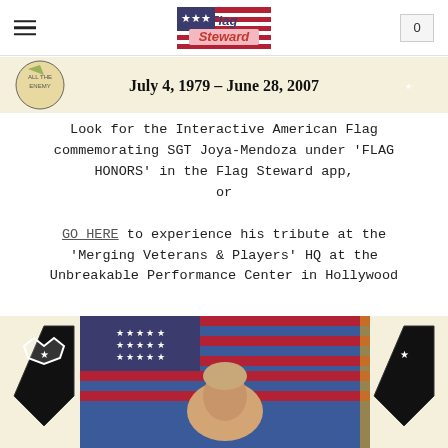Flag Steward
[Figure (illustration): Banner with military insignia logos on left and right, cream background, bold text: July 4, 1979 – June 28, 2007]
Look for the Interactive American Flag commemorating SGT Joya-Mendoza under 'FLAG HONORS' in the Flag Steward app, or GO HERE to experience his tribute at the 'Merging Veterans & Players' HQ at the Unbreakable Performance Center in Hollywood
[Figure (photo): Military portrait photo of a young male soldier with short light hair, seated in front of an American flag, flanked by two 2nd Infantry Division shield insignia on a cream background]